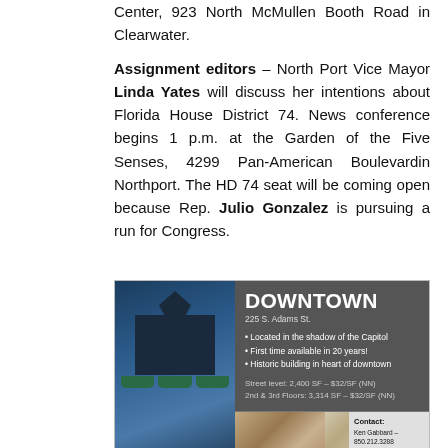Center, 923 North McMullen Booth Road in Clearwater.
Assignment editors – North Port Vice Mayor Linda Yates will discuss her intentions about Florida House District 74. News conference begins 1 p.m. at the Garden of the Five Senses, 4299 Pan-American Boulevardin Northport. The HD 74 seat will be coming open because Rep. Julio Gonzalez is pursuing a run for Congress.
[Figure (photo): Advertisement for downtown commercial real estate at 225 S. Adams St., featuring a historic building photo, interior photos, property details and contact information.]